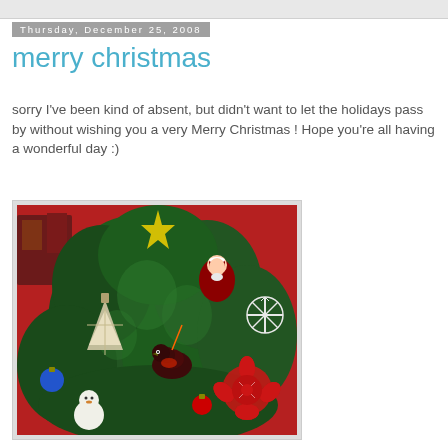Thursday, December 25, 2008
merry christmas
sorry I've been kind of absent, but didn't want to let the holidays pass by without wishing you a very Merry Christmas ! Hope you're all having a wonderful day :)
[Figure (photo): Close-up photo of a decorated Christmas tree with ornaments including a glittery tree ornament, Santa figurine, bird ornament, snowflake, and red flower decoration against a red wall background]